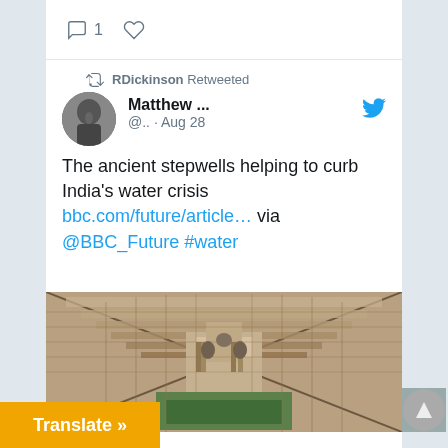[Figure (screenshot): Twitter/social media feed screenshot showing a retweet by RDickinson of a tweet by Matthew about ancient stepwells helping to curb India's water crisis, with a photo of a stepwell]
1
RDickinson Retweeted
Matthew ... @.. · Aug 28
The ancient stepwells helping to curb India's water crisis bbc.com/future/article… via @BBC_Future #water
[Figure (photo): Aerial/top-down view of an ancient Indian stepwell with geometric stone architecture]
bbc.com
…cient stepwells
Translate »